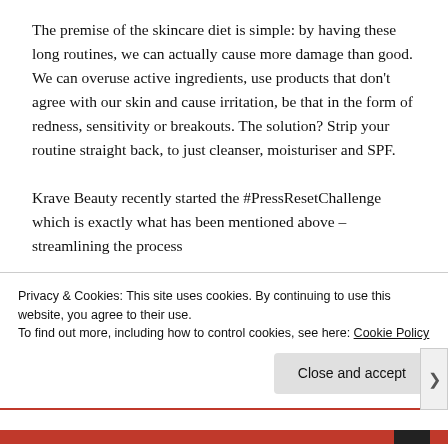The premise of the skincare diet is simple: by having these long routines, we can actually cause more damage than good. We can overuse active ingredients, use products that don't agree with our skin and cause irritation, be that in the form of redness, sensitivity or breakouts. The solution? Strip your routine straight back, to just cleanser, moisturiser and SPF.

Krave Beauty recently started the #PressResetChallenge which is exactly what has been mentioned above – streamlining the process
Privacy & Cookies: This site uses cookies. By continuing to use this website, you agree to their use.
To find out more, including how to control cookies, see here: Cookie Policy
Close and accept